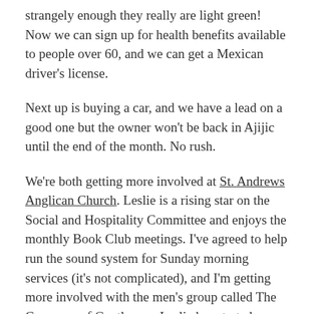strangely enough they really are light green! Now we can sign up for health benefits available to people over 60, and we can get a Mexican driver's license.
Next up is buying a car, and we have a lead on a good one but the owner won't be back in Ajijic until the end of the month. No rush.
We're both getting more involved at St. Andrews Anglican Church. Leslie is a rising star on the Social and Hospitality Committee and enjoys the monthly Book Club meetings. I've agreed to help run the sound system for Sunday morning services (it's not complicated), and I'm getting more involved with the men's group called The Company of Gentlemen. Leslie has started a new Spanish class, and I'm still working on my skills. I have a decent vocabulary, but I need more practice in putting sentences together and understanding Spanish speakers. I can make myself